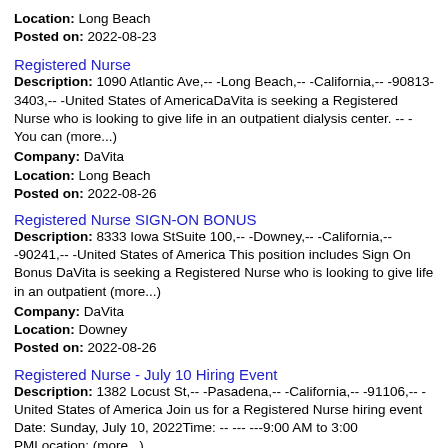Location: Long Beach
Posted on: 2022-08-23
Registered Nurse
Description: 1090 Atlantic Ave,-- -Long Beach,-- -California,-- -90813-3403,-- -United States of AmericaDaVita is seeking a Registered Nurse who is looking to give life in an outpatient dialysis center. -- -You can (more...)
Company: DaVita
Location: Long Beach
Posted on: 2022-08-26
Registered Nurse SIGN-ON BONUS
Description: 8333 Iowa StSuite 100,-- -Downey,-- -California,-- -90241,-- -United States of America This position includes Sign On Bonus DaVita is seeking a Registered Nurse who is looking to give life in an outpatient (more...)
Company: DaVita
Location: Downey
Posted on: 2022-08-26
Registered Nurse - July 10 Hiring Event
Description: 1382 Locust St,-- -Pasadena,-- -California,-- -91106,-- -United States of America Join us for a Registered Nurse hiring event Date: Sunday, July 10, 2022Time: -- --- ---9:00 AM to 3:00 PMLocation: (more...)
Company: DaVita
Location: Pasadena